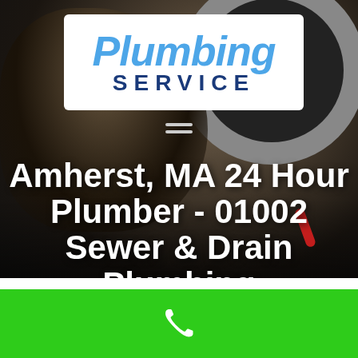[Figure (photo): Background photo of a mechanic or person working under a vehicle, with a large tire visible in the upper right. Dark, moody lighting.]
Plumbing SERVICE
Amherst, MA 24 Hour Plumber - 01002 Sewer & Drain Plumbing
[Figure (other): Green footer bar with a white phone/call icon in the center.]